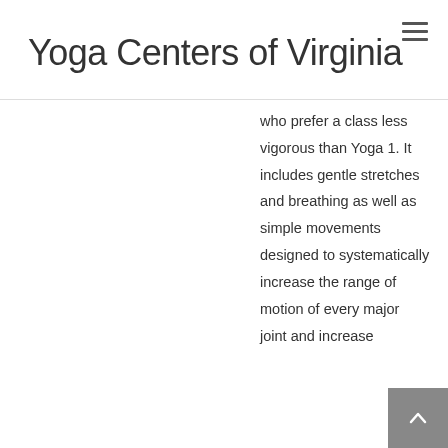Yoga Centers of Virginia
who prefer a class less vigorous than Yoga 1. It includes gentle stretches and breathing as well as simple movements designed to systematically increase the range of motion of every major joint and increase